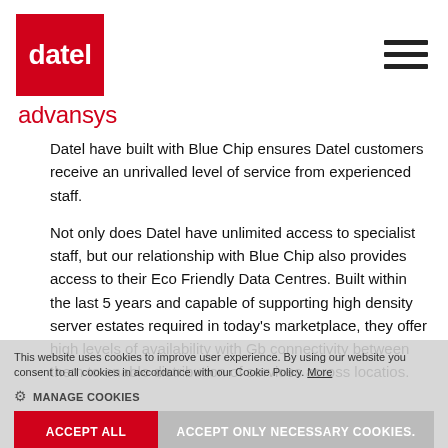[Figure (logo): Datel logo: white bold text 'datel' on red square background, with 'advansys' in red text below]
Datel have built with Blue Chip ensures Datel customers receive an unrivalled level of service from experienced staff.
Not only does Datel have unlimited access to specialist staff, but our relationship with Blue Chip also provides access to their Eco Friendly Data Centres. Built within the last 5 years and capable of supporting high density server estates required in today's marketplace, they offer high levels of availability with Gb connectivity between them to enable distribution of services across locatios.
This website uses cookies to improve user experience. By using our website you consent to all cookies in accordance with our Cookie Policy. More
MANAGE COOKIES
ACCEPT ALL
ACCEPT ONLY NECESSARY COOKIES.